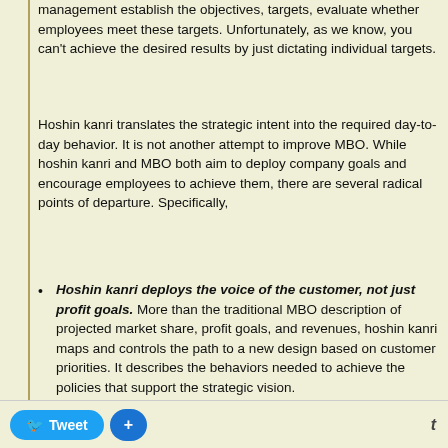management establish the objectives, targets, evaluate whether employees meet these targets. Unfortunately, as we know, you can't achieve the desired results by just dictating individual targets.
Hoshin kanri translates the strategic intent into the required day-to-day behavior. It is not another attempt to improve MBO. While hoshin kanri and MBO both aim to deploy company goals and encourage employees to achieve them, there are several radical points of departure. Specifically,
Hoshin kanri deploys the voice of the customer, not just profit goals. More than the traditional MBO description of projected market share, profit goals, and revenues, hoshin kanri maps and controls the path to a new design based on customer priorities. It describes the behaviors needed to achieve the policies that support the strategic vision.
Hoshin kanri depoys breakthrough strategies. It concentrates resources on strategic priorities and chronic problems by going after root cause(s) of obstacles to achieve dramatic improvement in performance.
Hoshin kanri (additional item partially visible)
Tweet +